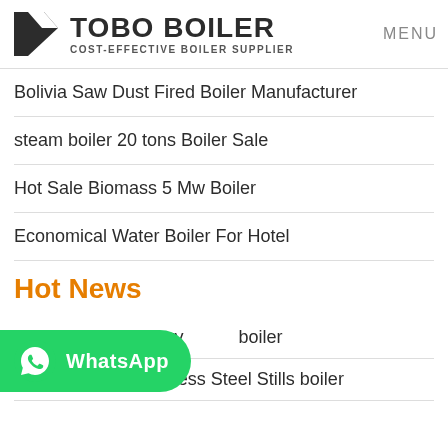TOBO BOILER | COST-EFFECTIVE BOILER SUPPLIER | MENU
Bolivia Saw Dust Fired Boiler Manufacturer
steam boiler 20 tons Boiler Sale
Hot Sale Biomass 5 Mw Boiler
Economical Water Boiler For Hotel
Hot News
1000L home distillery boiler
300L to 2000L Stainless Steel Stills boiler
[Figure (other): WhatsApp contact button overlay in green]